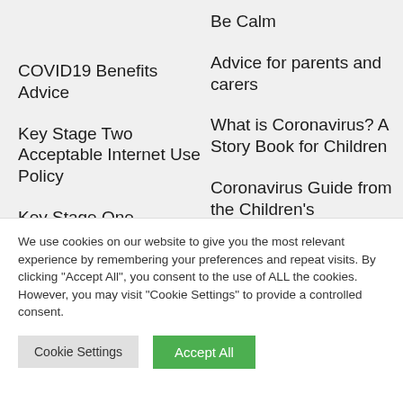Be Calm
Advice for parents and carers
COVID19 Benefits Advice
What is Coronavirus? A Story Book for Children
Key Stage Two Acceptable Internet Use Policy
Coronavirus Guide from the Children's Commissioner
Key Stage One Acceptable Internet
Oxford Health NHS
We use cookies on our website to give you the most relevant experience by remembering your preferences and repeat visits. By clicking "Accept All", you consent to the use of ALL the cookies. However, you may visit "Cookie Settings" to provide a controlled consent.
Cookie Settings
Accept All